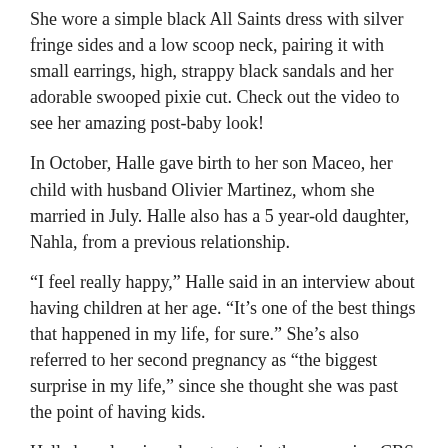She wore a simple black All Saints dress with silver fringe sides and a low scoop neck, pairing it with small earrings, high, strappy black sandals and her adorable swooped pixie cut. Check out the video to see her amazing post-baby look!
In October, Halle gave birth to her son Maceo, her child with husband Olivier Martinez, whom she married in July. Halle also has a 5 year-old daughter, Nahla, from a previous relationship.
“I feel really happy,” Halle said in an interview about having children at her age. “It’s one of the best things that happened in my life, for sure.” She’s also referred to her second pregnancy as “the biggest surprise in my life,” since she thought she was past the point of having kids.
Halle has also signed on to star in the upcoming CBS show Extant, which is scheduled to premiere in July. She’ll play an astronaut who has come back to earth and finds it difficult adjusting to life here after being out in space.
Also Check Out: The 30 Hottest Moms in Hollywood!